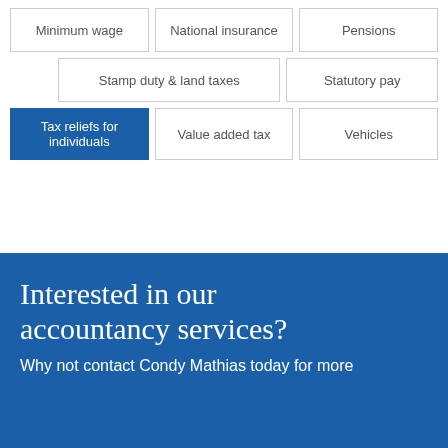Minimum wage
National insurance
Pensions
Stamp duty & land taxes
Statutory pay
Tax reliefs for individuals
Value added tax
Vehicles
Interested in our accountancy services?
Why not contact Condy Mathias today for more